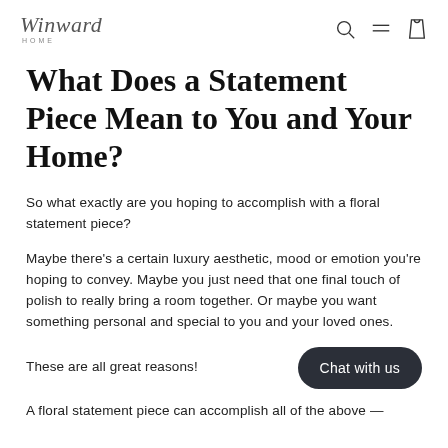Winward Home
What Does a Statement Piece Mean to You and Your Home?
So what exactly are you hoping to accomplish with a floral statement piece?
Maybe there’s a certain luxury aesthetic, mood or emotion you’re hoping to convey. Maybe you just need that one final touch of polish to really bring a room together. Or maybe you want something personal and special to you and your loved ones.
These are all great reasons!
A floral statement piece can accomplish all of the above —